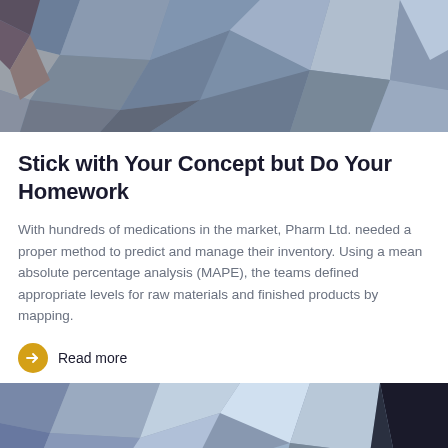[Figure (illustration): Abstract geometric polygon background image in blue, gray, and brown tones — top image]
Stick with Your Concept but Do Your Homework
With hundreds of medications in the market, Pharm Ltd. needed a proper method to predict and manage their inventory. Using a mean absolute percentage analysis (MAPE), the teams defined appropriate levels for raw materials and finished products by mapping.
Read more
[Figure (illustration): Abstract geometric polygon background image in blue and black tones — bottom image]